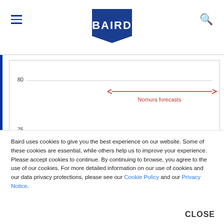BAIRD
[Figure (continuous-plot): Line chart showing employment or economic data from 2017 to 2024 with y-axis around 75-80, with a double-headed red arrow labeled 'Nomura forecasts' spanning 2020-2024. Source: Eurostat, Haver Analytics, Nomnura]
Source: Eurostat, Haver Analytics, Nomnura
In the early going it looks V-shaped, where employment numbers – specifically payroll and manufacturing data
Baird uses cookies to give you the best experience on our website. Some of these cookies are essential, while others help us to improve your experience. Please accept cookies to continue. By continuing to browse, you agree to the use of our cookies. For more detailed information on our use of cookies and our data privacy protections, please see our Cookie Policy and our Privacy Notice.